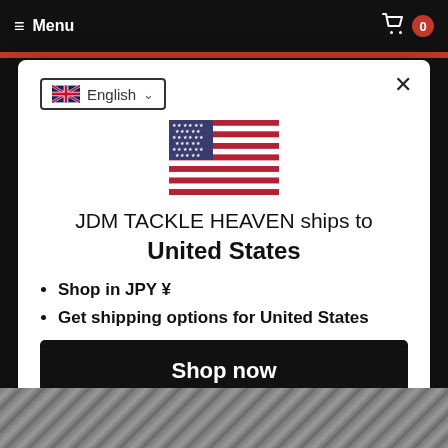Menu  0
[Figure (screenshot): Modal dialog on e-commerce website showing country shipping selector]
English
[Figure (illustration): US flag emoji/icon]
JDM TACKLE HEAVEN ships to United States
Shop in JPY ¥
Get shipping options for United States
Shop now
Change shipping country